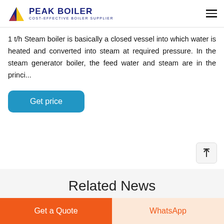PEAK BOILER COST-EFFECTIVE BOILER SUPPLIER
1 t/h Steam boiler is basically a closed vessel into which water is heated and converted into steam at required pressure. In the steam generator boiler, the feed water and steam are in the princi...
Get price
Related News
Get a Quote
WhatsApp